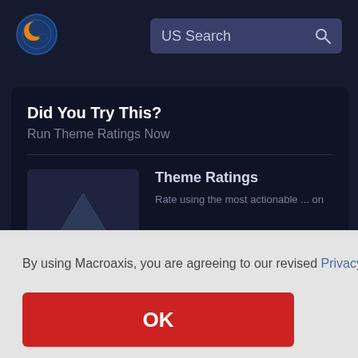[Figure (logo): Macroaxis logo — circular globe with orange and blue design]
US Search
Did You Try This?
Run Theme Ratings Now
[Figure (illustration): Theme Ratings thumbnail with triangle/arrow icon on dark background]
Theme Ratings
By using Macroaxis, you are agreeing to our revised Privacy Policy
OK